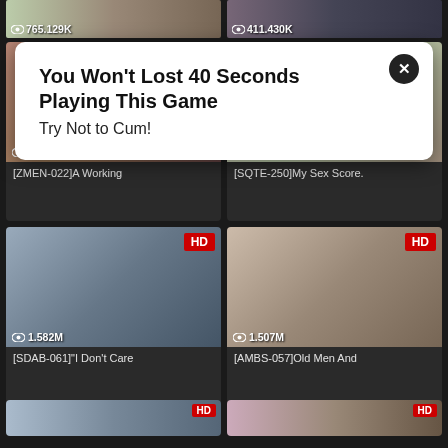[Figure (screenshot): Adult video website screenshot showing thumbnail grid with view counts and an advertisement popup overlay. Top strip shows two thumbnails with 765.129K and 411.430K views. Main grid shows four video cards: [ZMEN-022]A Working (1.764M views), [SQTE-250]My Sex Score. (310.648K views), [SDAB-061]"I Don't Care (1.582M views, HD), [AMBS-057]Old Men And (1.507M views, HD). Bottom row shows two more HD thumbnails.]
765.129K
411.430K
You Won't Lost 40 Seconds Playing This Game
Try Not to Cum!
1.764M
[ZMEN-022]A Working
310.648K
[SQTE-250]My Sex Score.
1.582M
[SDAB-061]"I Don't Care
1.507M
[AMBS-057]Old Men And